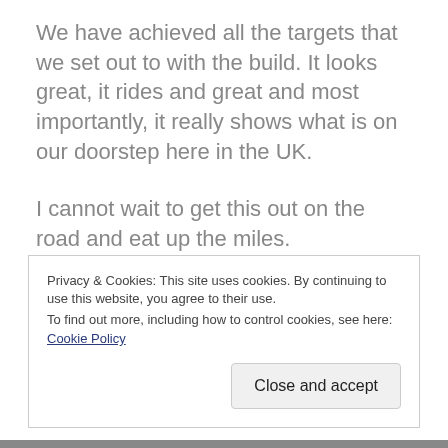We have achieved all the targets that we set out to with the build. It looks great, it rides and great and most importantly, it really shows what is on our doorstep here in the UK.
I cannot wait to get this out on the road and eat up the miles.
Privacy & Cookies: This site uses cookies. By continuing to use this website, you agree to their use.
To find out more, including how to control cookies, see here: Cookie Policy